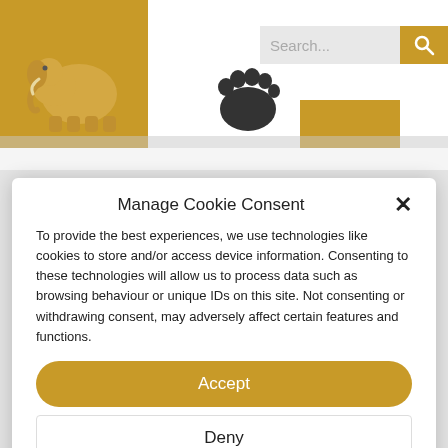[Figure (screenshot): Website header background with golden/yellow blocks, elephant figurine, footprint image, search bar, and search button]
Manage Cookie Consent
To provide the best experiences, we use technologies like cookies to store and/or access device information. Consenting to these technologies will allow us to process data such as browsing behaviour or unique IDs on this site. Not consenting or withdrawing consent, may adversely affect certain features and functions.
Accept
Deny
View preferences
Cookie Policy  Privacy Policy